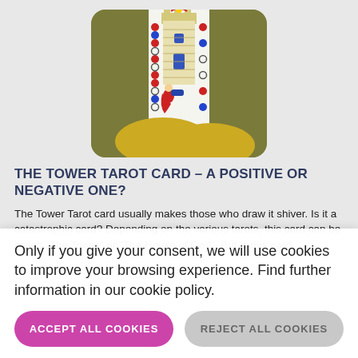[Figure (illustration): Tarot card illustration showing The Tower card — a tall stone tower with figures falling, colorful dots pattern, on an olive/gold background, with rounded corners.]
THE TOWER TAROT CARD – A POSITIVE OR NEGATIVE ONE?
The Tower Tarot card usually makes those who draw it shiver. Is it a catastrophic card? Depending on the various tarots, this card can be called "The Tower" or "The House of God". But is this card
Only if you give your consent, we will use cookies to improve your browsing experience. Find further information in our cookie policy.
ACCEPT ALL COOKIES
REJECT ALL COOKIES